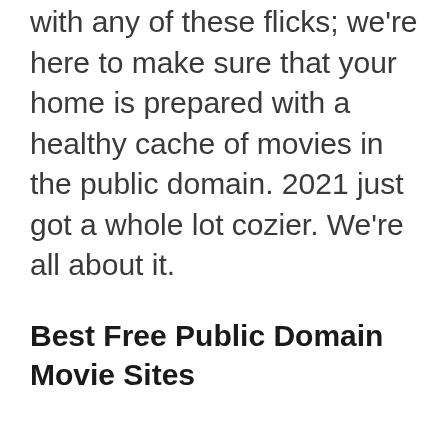with any of these flicks; we're here to make sure that your home is prepared with a healthy cache of movies in the public domain. 2021 just got a whole lot cozier. We're all about it.
Best Free Public Domain Movie Sites